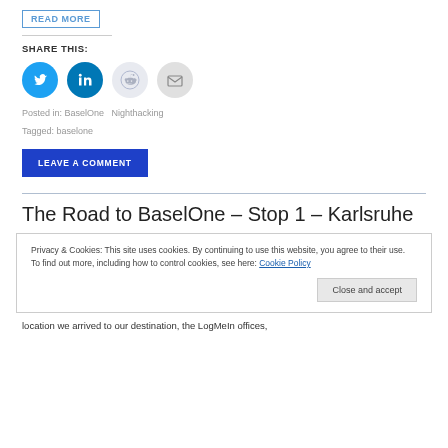READ MORE
SHARE THIS:
[Figure (other): Social sharing icons: Twitter (blue), LinkedIn (dark blue), Reddit (light gray), Email (gray)]
Posted in: BaselOne   Nighthacking
Tagged: baselone
LEAVE A COMMENT
The Road to BaselOne – Stop 1 – Karlsruhe
Privacy & Cookies: This site uses cookies. By continuing to use this website, you agree to their use.
To find out more, including how to control cookies, see here: Cookie Policy
Close and accept
location we arrived to our destination, the LogMeIn offices,